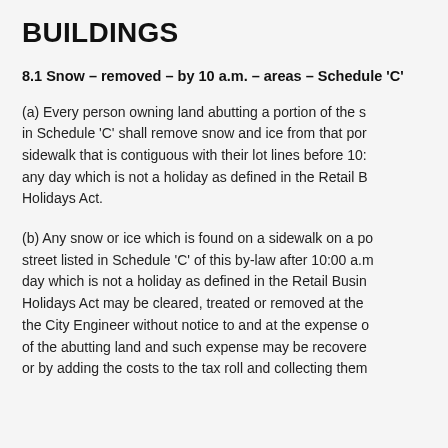BUILDINGS
8.1 Snow – removed – by 10 a.m. – areas – Schedule 'C'
(a) Every person owning land abutting a portion of the street listed in Schedule 'C' shall remove snow and ice from that portion of the sidewalk that is contiguous with their lot lines before 10:00 a.m. on any day which is not a holiday as defined in the Retail Business Holidays Act.
(b) Any snow or ice which is found on a sidewalk on a portion of a street listed in Schedule 'C' of this by-law after 10:00 a.m. on any day which is not a holiday as defined in the Retail Business Holidays Act may be cleared, treated or removed at the direction of the City Engineer without notice to and at the expense of the owner of the abutting land and such expense may be recovered by or by adding the costs to the tax roll and collecting them